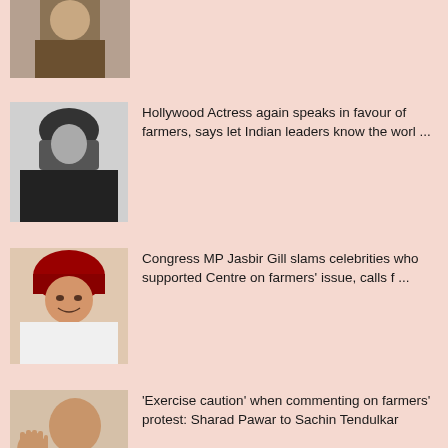[Figure (photo): Partial photo at top of page — person in brown jacket, cropped]
Hollywood Actress again speaks in favour of farmers, says let Indian leaders know the worl ...
[Figure (photo): Black and white photo of a woman with dark hair, singing or speaking]
Congress MP Jasbir Gill slams celebrities who supported Centre on farmers' issue, calls f ...
[Figure (photo): Photo of a man wearing a red turban and white clothing]
'Exercise caution' when commenting on farmers' protest: Sharad Pawar to Sachin Tendulkar
[Figure (photo): Photo of an elderly man with raised hand holding a microphone]
Read: How Modi government aggressively trying to justify Farm Laws circulating 'I ...